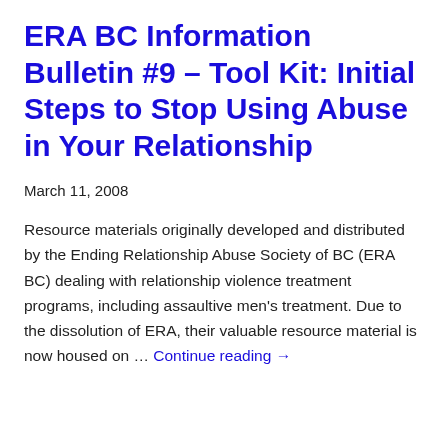ERA BC Information Bulletin #9 – Tool Kit: Initial Steps to Stop Using Abuse in Your Relationship
March 11, 2008
Resource materials originally developed and distributed by the Ending Relationship Abuse Society of BC (ERA BC) dealing with relationship violence treatment programs, including assaultive men's treatment. Due to the dissolution of ERA, their valuable resource material is now housed on … Continue reading →